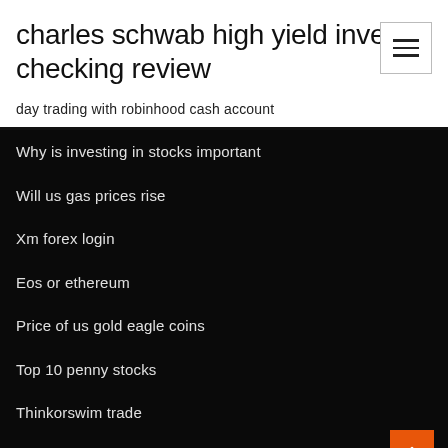charles schwab high yield investor checking review
day trading with robinhood cash account
Why is investing in stocks important
Will us gas prices rise
Xm forex login
Eos or ethereum
Price of us gold eagle coins
Top 10 penny stocks
Thinkorswim trade
Maybank foreign exchange rate malaysia